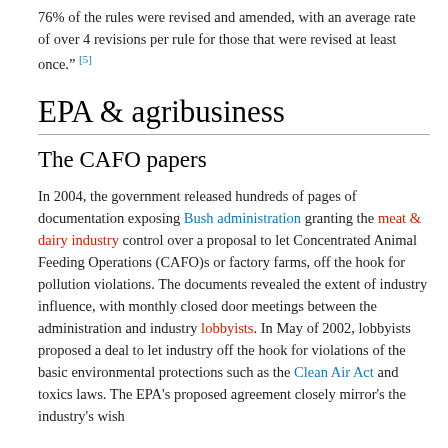76% of the rules were revised and amended, with an average rate of over 4 revisions per rule for those that were revised at least once." [5]
EPA & agribusiness
The CAFO papers
In 2004, the government released hundreds of pages of documentation exposing Bush administration granting the meat & dairy industry control over a proposal to let Concentrated Animal Feeding Operations (CAFO)s or factory farms, off the hook for pollution violations. The documents revealed the extent of industry influence, with monthly closed door meetings between the administration and industry lobbyists. In May of 2002, lobbyists proposed a deal to let industry off the hook for violations of the basic environmental protections such as the Clean Air Act and toxics laws. The EPA's proposed agreement closely mirror's the industry's wish